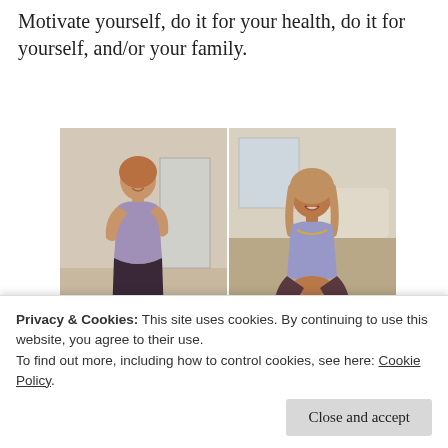Motivate yourself, do it for your health, do it for yourself, and/or your family.
[Figure (photo): Two side-by-side photos of a woman in a light purple tank top. Left photo: woman standing sideways in an interior room. Right photo: woman sitting cross-legged on a floor, smiling.]
[Figure (photo): Partial view of two thumbnail images at the bottom: left shows a graphic with 'ONE OF' text, right shows an orange graphic labeled 'BENEFITS OF EXERCISE'.]
Privacy & Cookies: This site uses cookies. By continuing to use this website, you agree to their use.
To find out more, including how to control cookies, see here: Cookie Policy
Close and accept